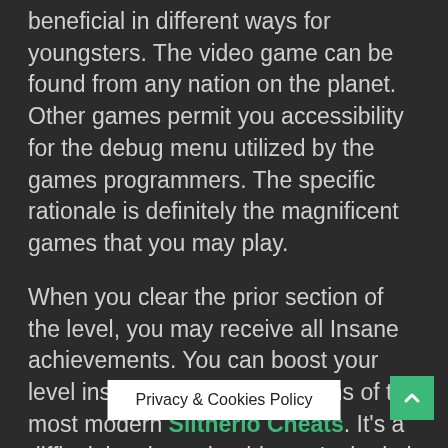beneficial in different ways for youngsters. The video game can be found from any nation on the planet. Other games permit you accessibility for the debug menu utilized by the games programmers. The specific rationale is definitely the magnificent games that you may play.
When you clear the prior section of the level, you may receive all Insane achievements. You can boost your level inside this game by means of the most modern Slitherio Cheats. It's a difficult level, so should youn't obtain it the very first time, don't worry. It is actually possible to overcome difficulties in this particular game when you use an ideal hack tool inside the right way.
The objective in the game is always to control and move a worm around a colored area, eat pellets to get mass, defeat and consume other players to grow the greatest and longest inside the game.[1] In the event the player's worm's head collides into part of [another] player will die. The defeated avatar's bo[dy turns into] [eatab]ing pellets
Privacy & Cookies Policy